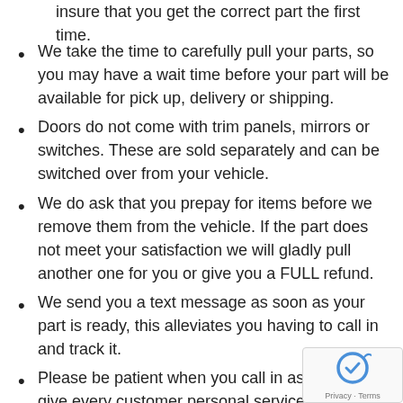insure that you get the correct part the first time.
We take the time to carefully pull your parts, so you may have a wait time before your part will be available for pick up, delivery or shipping.
Doors do not come with trim panels, mirrors or switches. These are sold separately and can be switched over from your vehicle.
We do ask that you prepay for items before we remove them from the vehicle. If the part does not meet your satisfaction we will gladly pull another one for you or give you a FULL refund.
We send you a text message as soon as your part is ready, this alleviates you having to call in and track it.
Please be patient when you call in as we try to give every customer personal service for all automotive needs. We also answer all emails if